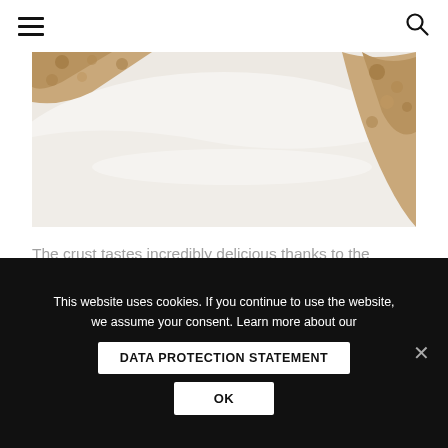Navigation header with hamburger menu and search icon
[Figure (photo): Close-up photo of a food item with a white creamy layer and a crust made with hazelnuts, caramel-y dates texture visible at top and right edges]
The crust tastes incredibly delicious thanks to the hazelnuts and caramel-y dates.
This website uses cookies. If you continue to use the website, we assume your consent. Learn more about our DATA PROTECTION STATEMENT OK